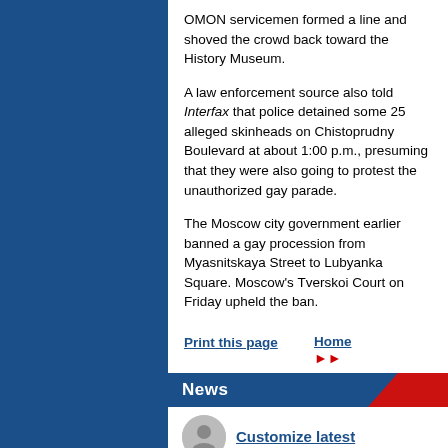OMON servicemen formed a line and shoved the crowd back toward the History Museum.
A law enforcement source also told Interfax that police detained some 25 alleged skinheads on Chistoprudny Boulevard at about 1:00 p.m., presuming that they were also going to protest the unauthorized gay parade.
The Moscow city government earlier banned a gay procession from Myasnitskaya Street to Lubyanka Square. Moscow's Tverskoi Court on Friday upheld the ban.
Print this page   Home
News
Customize latest